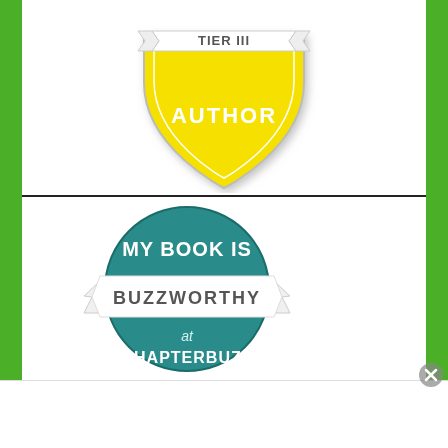[Figure (logo): Yellow shield badge with 'TIER III' on a banner at top and 'AUTHOR' text in white on the shield body]
[Figure (logo): Teal circular badge with 'MY BOOK IS' text at top, a ribbon banner with 'BUZZWORTHY' text, and 'at CHAPTERBUZZ' text below]
Advertisements
[Figure (infographic): DuckDuckGo advertisement banner: orange background with 'Search, browse, and email with more privacy.' and 'All in One Free App' pill button on left; dark right section with DuckDuckGo duck logo and brand name]